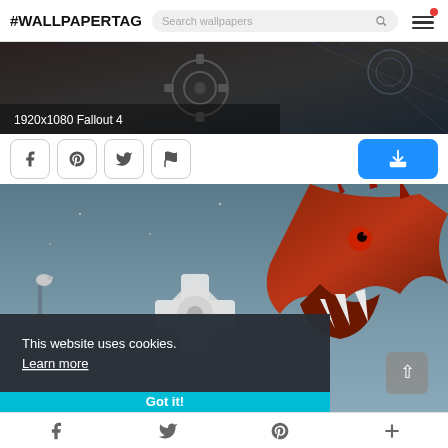#WALLPAPERTAG  Search wallpapers  [hamburger menu]
[Figure (screenshot): Dark steampunk/sci-fi wallpaper banner labeled '1920x1080 Fallout 4']
1920x1080 Fallout 4
[Figure (screenshot): Social share buttons: Facebook, Pinterest, Twitter, Flag; and a blue Download button]
[Figure (screenshot): Fantasy creature (large red dinosaur/monster) wallpaper with blue sky background, with cookie consent overlay reading 'This website uses cookies. Learn more' and a 'Got it!' button]
This website uses cookies.  Learn more
Got it!
Facebook  Twitter  Pinterest  +